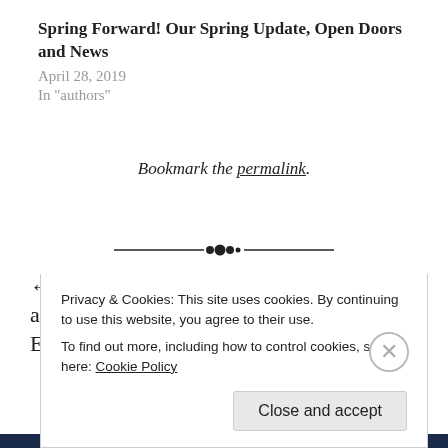Spring Forward! Our Spring Update, Open Doors and News
April 28, 2019
In "authors"
Bookmark the permalink.
[Figure (other): Decorative horizontal divider with ornamental diamond shape in center]
← Decree a Thing, and It Will Be Established!
Renewed and Revived by Surprise →
Privacy & Cookies: This site uses cookies. By continuing to use this website, you agree to their use.
To find out more, including how to control cookies, see here: Cookie Policy
Close and accept